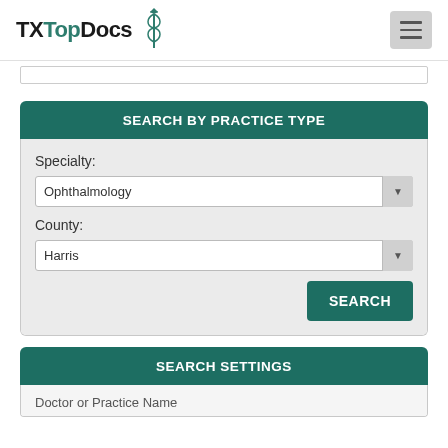TXTopDocs
SEARCH BY PRACTICE TYPE
Specialty:
Ophthalmology
County:
Harris
SEARCH
SEARCH SETTINGS
Doctor or Practice Name